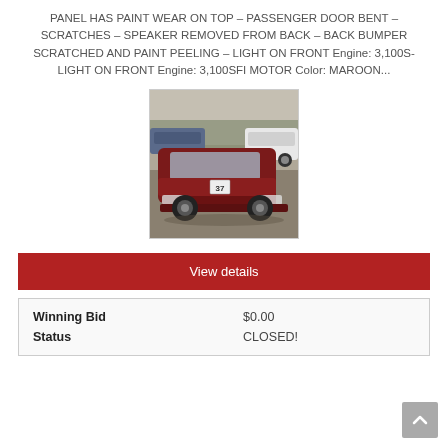PANEL HAS PAINT WEAR ON TOP – PASSENGER DOOR BENT – SCRATCHES – SPEAKER REMOVED FROM BACK – BACK BUMPER SCRATCHED AND PAINT PEELING – LIGHT ON FRONT Engine: 3,100S- LIGHT ON FRONT Engine: 3,100SFI MOTOR Color: MAROON...
[Figure (photo): Photo of a maroon sedan (Chevrolet Malibu) in a parking lot with other vehicles in the background. The car has a numbered tag (37) on the hood.]
View details
| Winning Bid | $0.00 |
| Status | CLOSED! |